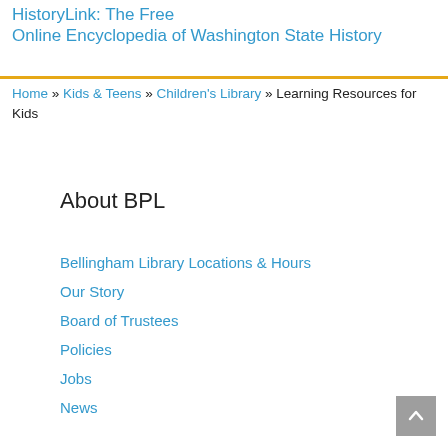HistoryLink: The Free Online Encyclopedia of Washington State History
Home » Kids & Teens » Children's Library » Learning Resources for Kids
About BPL
Bellingham Library Locations & Hours
Our Story
Board of Trustees
Policies
Jobs
News